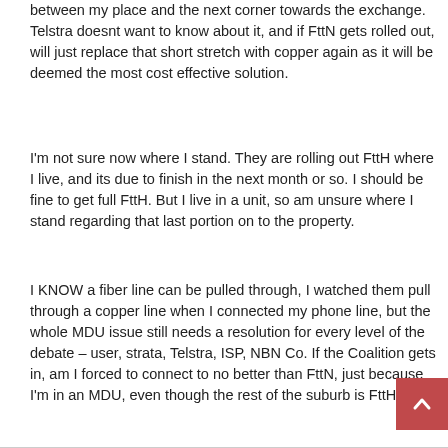between my place and the next corner towards the exchange. Telstra doesnt want to know about it, and if FttN gets rolled out, will just replace that short stretch with copper again as it will be deemed the most cost effective solution.
I'm not sure now where I stand. They are rolling out FttH where I live, and its due to finish in the next month or so. I should be fine to get full FttH. But I live in a unit, so am unsure where I stand regarding that last portion on to the property.
I KNOW a fiber line can be pulled through, I watched them pull through a copper line when I connected my phone line, but the whole MDU issue still needs a resolution for every level of the debate – user, strata, Telstra, ISP, NBN Co. If the Coalition gets in, am I forced to connect to no better than FttN, just because I'm in an MDU, even though the rest of the suburb is FttH?